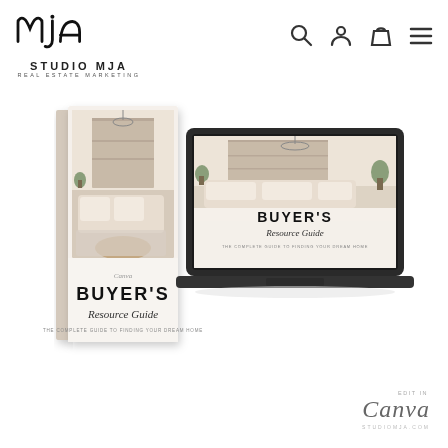[Figure (logo): Studio MJA Real Estate Marketing logo with stylized 'mja' lettermark and text below]
[Figure (illustration): Navigation icons: search magnifier, user profile, shopping bag, and hamburger menu]
[Figure (photo): Product mockup showing a Buyer's Resource Guide as both a printed booklet/ebook and displayed on a laptop screen. The guide features a stylish living room interior photo and the text 'BUYER'S Resource Guide — The Complete Guide to Finding Your Dream Home']
[Figure (logo): Canva 'edit in Canva' badge with cursive Canva logo and studiomja.com URL below]